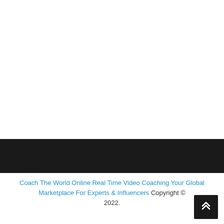Coach The World Online Real Time Video Coaching Your Global Marketplace For Experts & Influencers Copyright © 2022.